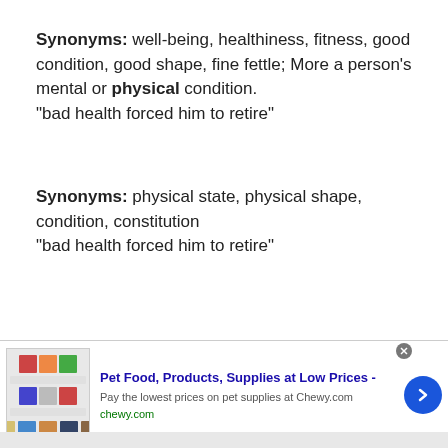Synonyms: well-being, healthiness, fitness, good condition, good shape, fine fettle; More a person's mental or physical condition. "bad health forced him to retire"
Synonyms: physical state, physical shape, condition, constitution "bad health forced him to retire"
[Figure (other): Advertisement banner for Chewy.com pet supplies showing product images, title 'Pet Food, Products, Supplies at Low Prices -', description text, URL, navigation arrow button, and close button]